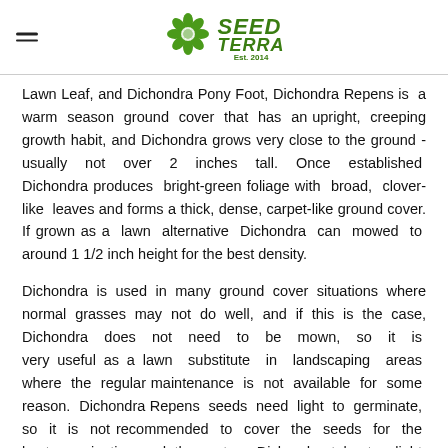SEED TERRA Est. 2014
Lawn Leaf, and Dichondra Pony Foot, Dichondra Repens is a warm season ground cover that has an upright, creeping growth habit, and Dichondra grows very close to the ground - usually not over 2 inches tall. Once established Dichondra produces bright-green foliage with broad, clover-like leaves and forms a thick, dense, carpet-like ground cover. If grown as a lawn alternative Dichondra can mowed to around 1 1/2 inch height for the best density.
Dichondra is used in many ground cover situations where normal grasses may not do well, and if this is the case, Dichondra does not need to be mown, so it is very useful as a lawn substitute in landscaping areas where the regular maintenance is not available for some reason. Dichondra Repens seeds need light to germinate, so it is not recommended to cover the seeds for the best germination, and the mature Dichondra tolerates light foot traffic providing a bright green color and a cushion feel underfoot.